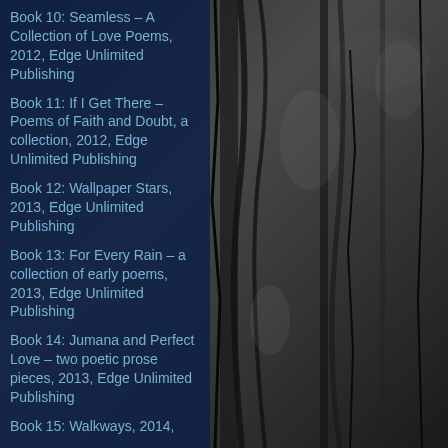[Figure (photo): Dark textured background resembling rough stone or bark in black and grey tones]
Book 10: Seamless – A Collection of Love Poems, 2012, Edge Unlimited Publishing
Book 11: If I Get There – Poems of Faith and Doubt, a collection, 2012, Edge Unlimited Publishing
Book 12: Wallpaper Stars, 2013, Edge Unlimited Publishing
Book 13: For Every Rain – a collection of early poems, 2013, Edge Unlimited Publishing
Book 14: Jumana and Perfect Love – two poetic prose pieces, 2013, Edge Unlimited Publishing
Book 15: Walkways, 2014,